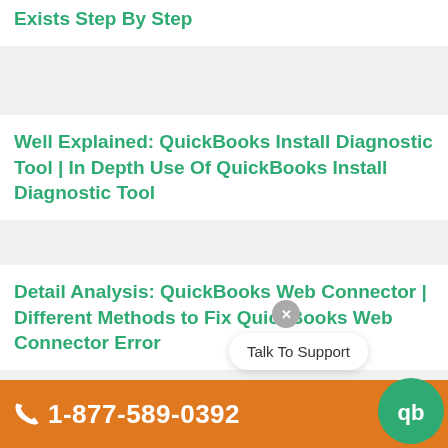Exists Step By Step
Well Explained: QuickBooks Install Diagnostic Tool | In Depth Use Of QuickBooks Install Diagnostic Tool
Detail Analysis: QuickBooks Web Connector | Different Methods to Fix QuickBooks Web Connector Error
Learn How To Use QuickBooks Tool Hub | In Depth Analysis Of QuickBooks Tool